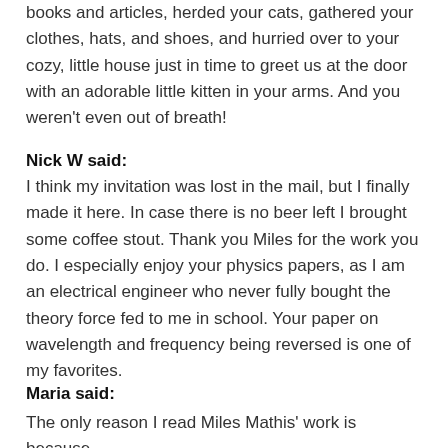books and articles, herded your cats, gathered your clothes, hats, and shoes, and hurried over to your cozy, little house just in time to greet us at the door with an adorable little kitten in your arms. And you weren't even out of breath!
Nick W said:
I think my invitation was lost in the mail, but I finally made it here. In case there is no beer left I brought some coffee stout. Thank you Miles for the work you do. I especially enjoy your physics papers, as I am an electrical engineer who never fully bought the theory force fed to me in school. Your paper on wavelength and frequency being reversed is one of my favorites.
Maria said:
The only reason I read Miles Mathis' work is because